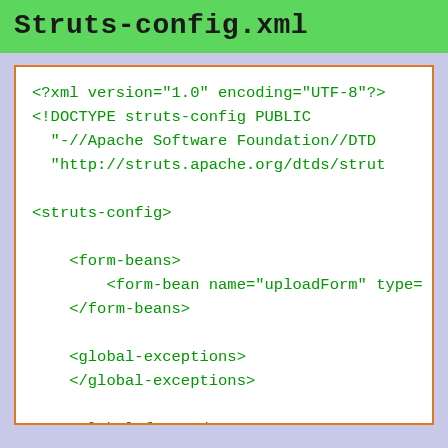Struts-config.xml
<?xml version="1.0" encoding="UTF-8"?>
<!DOCTYPE struts-config PUBLIC
    "-//Apache Software Foundation//DTD
    "http://struts.apache.org/dtds/strut

<struts-config>

    <form-beans>
        <form-bean name="uploadForm" type=
    </form-beans>

    <global-exceptions>
    </global-exceptions>

    <global-forwards>
        <forward name="welcome" path="/Wel
    </global-forwards>

    <action-mappings>